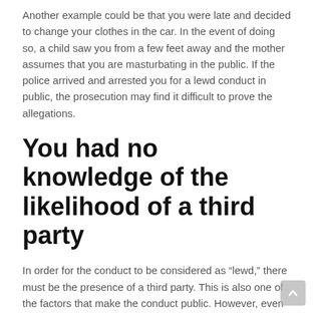Another example could be that you were late and decided to change your clothes in the car. In the event of doing so, a child saw you from a few feet away and the mother assumes that you are masturbating in the public. If the police arrived and arrested you for a lewd conduct in public, the prosecution may find it difficult to prove the allegations.
You had no knowledge of the likelihood of a third party
In order for the conduct to be considered as “lewd,” there must be the presence of a third party. This is also one of the factors that make the conduct public. However, even if the act occurred in a public area, the absence of a witness or an individual who could have been offended is enough to prove that you are innocent. If you did not have the